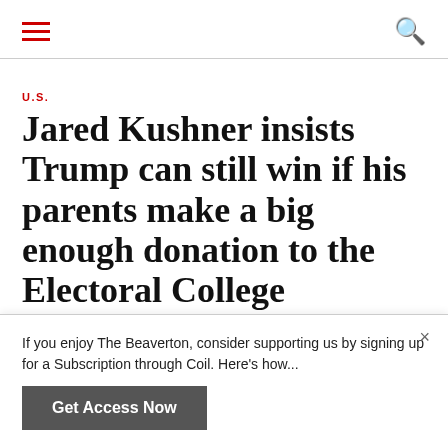hamburger menu | search icon
U.S.
Jared Kushner insists Trump can still win if his parents make a big enough donation to the Electoral College
NOVEMBER 5, 2020 by MARY GILLIS | @LIVING_MARBLE |
If you enjoy The Beaverton, consider supporting us by signing up for a Subscription through Coil. Here's how...
Get Access Now